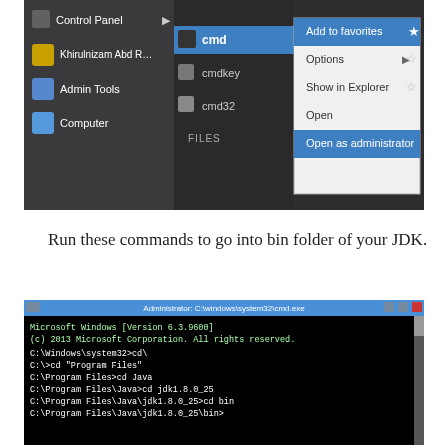[Figure (screenshot): Windows Start Menu showing cmd right-clicked with context menu options: Add to favorites (highlighted blue), Options, Show in Explorer, Open, Open as administrator (highlighted blue). Also shows cmdkey, cmd32 in the list, and left panel with Control Panel, Khirulnizam Abd R., Admin Tools, Computer.]
Run these commands to go into bin folder of your JDK.
[Figure (screenshot): Windows Command Prompt (Administrator) showing: Microsoft Windows [Version 6.3.9600], (c) 2013 Microsoft Corporation. All rights reserved., C:\Windows\system32>cd\, C:\>cd "Program Files", C:\Program Files>cd Java, C:\Program Files\Java>cd jdk1.8.0_25, C:\Program Files\Java\jdk1.8.0_25>cd bin, C:\Program Files\Java\jdk1.8.0_25\bin>]